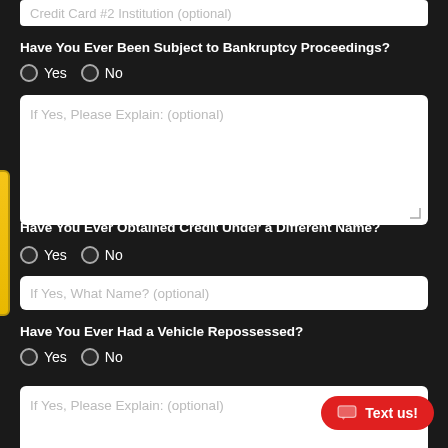Credit Card #2 Institution (optional)
Have You Ever Been Subject to Bankruptcy Proceedings?
Yes   No
If Yes, Please Explain: (optional)
Have You Ever Obtained Credit Under a Different Name?
Yes   No
If Yes, What Name? (optional)
Have You Ever Had a Vehicle Repossessed?
Yes   No
If Yes, Please Explain: (optional)
[Figure (other): Instant Trade Value tab on left side]